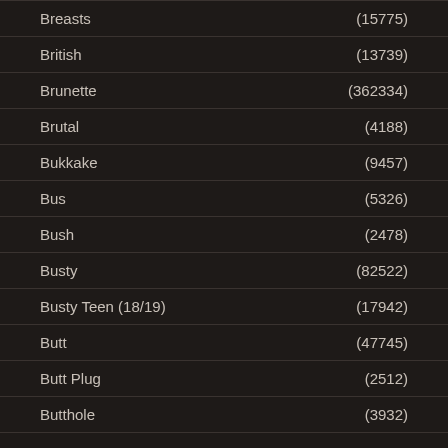Breasts (15775)
British (13739)
Brunette (362334)
Brutal (4188)
Bukkake (9457)
Bus (5326)
Bush (2478)
Busty (82522)
Busty Teen (18/19) (17942)
Butt (47745)
Butt Plug (2512)
Butthole (3932)